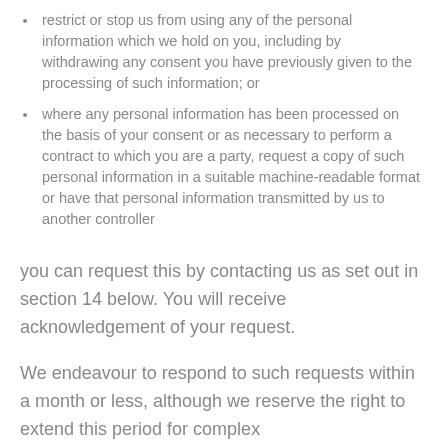restrict or stop us from using any of the personal information which we hold on you, including by withdrawing any consent you have previously given to the processing of such information; or
where any personal information has been processed on the basis of your consent or as necessary to perform a contract to which you are a party, request a copy of such personal information in a suitable machine-readable format or have that personal information transmitted by us to another controller
you can request this by contacting us as set out in section 14 below. You will receive acknowledgement of your request.
We endeavour to respond to such requests within a month or less, although we reserve the right to extend this period for complex